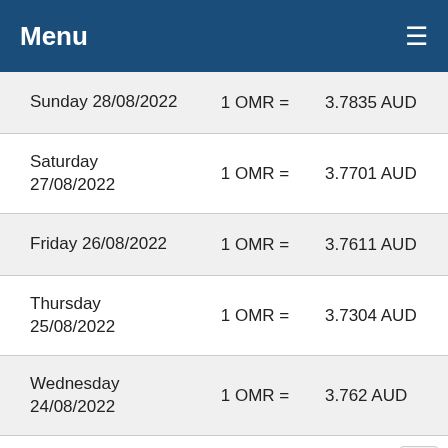Menu
| Date | Rate | Value |
| --- | --- | --- |
| Sunday 28/08/2022 | 1 OMR = | 3.7835 AUD |
| Saturday 27/08/2022 | 1 OMR = | 3.7701 AUD |
| Friday 26/08/2022 | 1 OMR = | 3.7611 AUD |
| Thursday 25/08/2022 | 1 OMR = | 3.7304 AUD |
| Wednesday 24/08/2022 | 1 OMR = | 3.762 AUD |
| Tuesday 23/08/2022 | 1 OMR = | 3.7529 AUD |
| Monday 22/08/2022 | 1 OMR = | 3.7758 AUD |